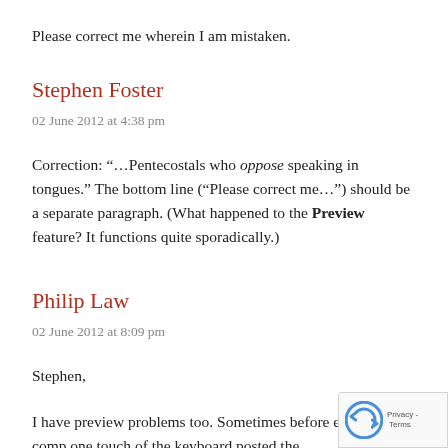Please correct me wherein I am mistaken.
Stephen Foster
02 June 2012 at 4:38 pm
Correction: “…Pentecostals who oppose speaking in tongues.” The bottom line (“Please correct me…”) should be a separate paragraph. (What happened to the Preview feature? It functions quite sporadically.)
Philip Law
02 June 2012 at 8:09 pm
Stephen,
I have preview problems too. Sometimes before editing is comp one touch of the keyboard posted the